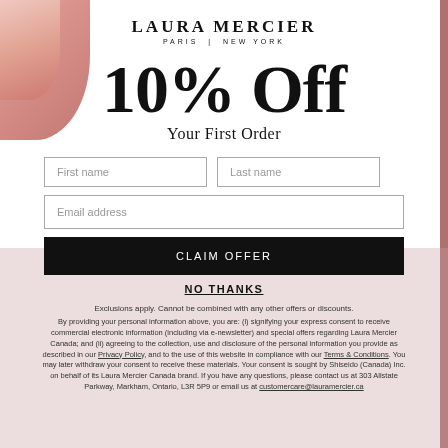[Figure (illustration): Pink cosmetic product decorative element in top-left corner]
LAURA MERCIER
PARIS | NEW YORK
10% Off
Your First Order
First name
Last name
Email address
CLAIM OFFER
NO THANKS
Exclusions apply. Cannot be combined with any other offers or discounts.
By providing your personal information above, you are: (i) signifying your express consent to receive commercial electronic information (including via e-newsletter) and special offers regarding Laura Mercier Canada; and (ii) agreeing to the collection, use and disclosure of the personal information you provide as described in our Privacy Policy, and to the use of this website in compliance with our Terms & Conditions. You may later withdraw your consent to receive these materials. Your consent is sought by Shiseido (Canada) Inc. on behalf of its Laura Mercier Canada brand. If you have any questions, please contact us at 303 Allstate Parkway, Markham, Ontario, L3R 5P9 or email us at customercare@lauramercier.ca